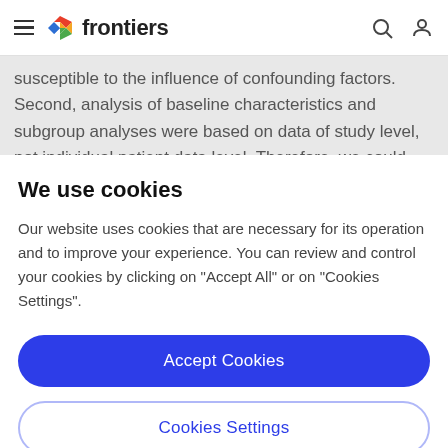frontiers
susceptible to the influence of confounding factors. Second, analysis of baseline characteristics and subgroup analyses were based on data of study level, not individual patient data level. Therefore, we could assess the data as "predominant characteristics," which mean some
We use cookies
Our website uses cookies that are necessary for its operation and to improve your experience. You can review and control your cookies by clicking on "Accept All" or on "Cookies Settings".
Accept Cookies
Cookies Settings